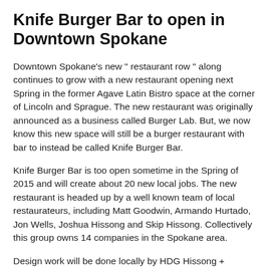Knife Burger Bar to open in Downtown Spokane
Downtown Spokane's new " restaurant row " along continues to grow with a new restaurant opening next Spring in the former Agave Latin Bistro space at the corner of Lincoln and Sprague. The new restaurant was originally announced as a business called Burger Lab. But, we now know this new space will still be a burger restaurant with bar to instead be called Knife Burger Bar.
Knife Burger Bar is too open sometime in the Spring of 2015 and will create about 20 new local jobs. The new restaurant is headed up by a well known team of local restaurateurs, including Matt Goodwin, Armando Hurtado, Jon Wells, Joshua Hissong and Skip Hissong. Collectively this group owns 14 companies in the Spokane area.
Design work will be done locally by HDG Hissong + Hurtado Design Group. This is the same group that designed the other restaurants in the new Restaurant Row which currently also include Nude Roman House and Fire Artisan Pizza